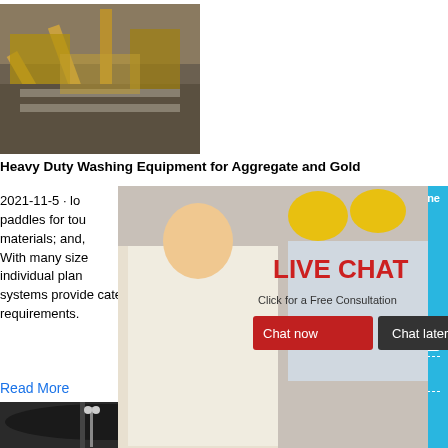[Figure (photo): Aerial view of heavy-duty industrial washing/aggregate equipment at a mining or quarrying site with conveyor belts and machinery]
Heavy Duty Washing Equipment for Aggregate and Gold
2021-11-5 · lo...avy-duty paddles for tou... hour online materials; and, With many size... individual plan... systems provide catered solutions for your requirements.
Read More
[Figure (photo): Large dark stockpile mound at an industrial/mining facility with a light pole in the foreground]
[Figure (infographic): Live Chat popup overlay showing a smiling woman in white shirt and workers in yellow helmets, with LIVE CHAT heading, Click for a Free Consultation text, Chat now and Chat later buttons, and close X button]
[Figure (infographic): Right sidebar panel in blue with hour online text, image of grey jaw crusher machine, Click me to chat>> button, Enquiry section, and limingjlmofen text]